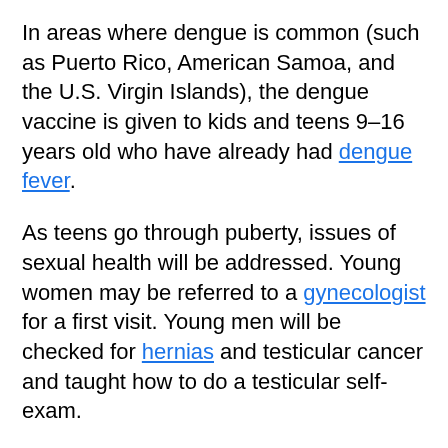In areas where dengue is common (such as Puerto Rico, American Samoa, and the U.S. Virgin Islands), the dengue vaccine is given to kids and teens 9–16 years old who have already had dengue fever.
As teens go through puberty, issues of sexual health will be addressed. Young women may be referred to a gynecologist for a first visit. Young men will be checked for hernias and testicular cancer and taught how to do a testicular self-exam.
Teens should be asked about behaviors or emotional problems that may indicate depression or the risk of suicide. The doctor also should provide counseling about risky behaviors and other issues, including:
sexual activities that may result in unintended